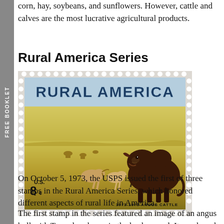corn, hay, soybeans, and sunflowers. However, cattle and calves are the most lucrative agricultural products.
Rural America Series
[Figure (illustration): A U.S. postage stamp depicting Rural America — showing an Angus bull in the foreground with Texas longhorns and a cowboy in the background on an open prairie. The stamp is labeled RURAL AMERICA at the top and '1973-1973 ANGUS CATTLE' at the bottom, with a denomination of U.S. 8 cents.]
On October 5, 1973, the USPS issued the first of three stamps in the Rural America Series, which honored different aspects of rural life in America.
The first stamp in the series featured an image of an angus bull with Texas longhorns in the background. It was based